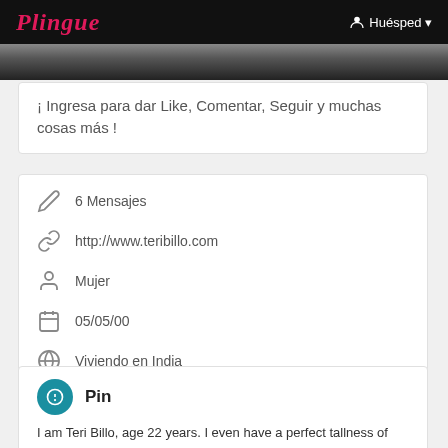Plingue | Huésped
[Figure (photo): Partial photo strip showing a person, dark background]
¡ Ingresa para dar Like, Comentar, Seguir y muchas cosas más !
6 Mensajes
http://www.teribillo.com
Mujer
05/05/00
Viviendo en India
Situado en Chandigarh
Pin
I am Teri Billo, age 22 years. I even have a perfect tallness of 5'6". on these lines, guys with Mainedium and low tallness will contact me, an outsized variety of my customers inclines toward Maino as a